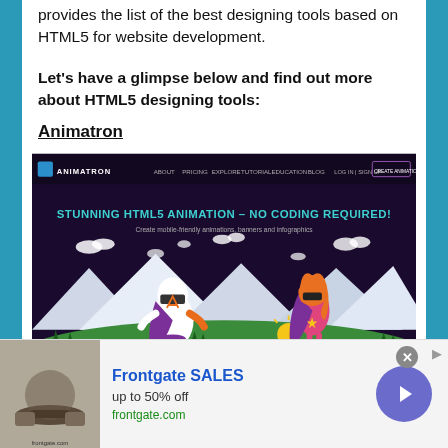provides the list of the best designing tools based on HTML5 for website development.
Let's have a glimpse below and find out more about HTML5 designing tools:
Animatron
[Figure (screenshot): Screenshot of the Animatron website showing navigation bar with ABOUT, PRICING, EXPLORE, TUTORIAL, EDUCATION, BLOG links and a CREATE ANIMATION button. Hero section shows cartoon superheroes on a purple-to-green background with text 'STUNNING HTML5 ANIMATION - NO CODING REQUIRED!' and subtitle 'Create mobile-friendly animations, banners and infographics']
[Figure (other): Advertisement for Frontgate SALES showing outdoor furniture photo, text 'Frontgate SALES up to 50% off frontgate.com', and a purple circle arrow button]